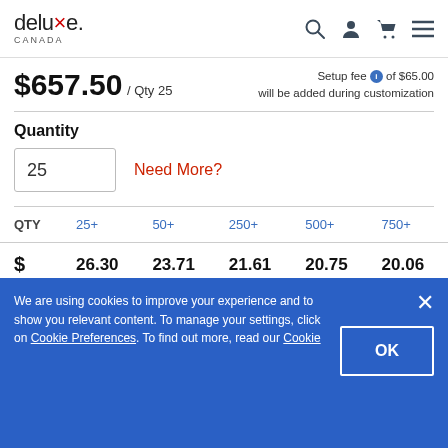deluxe CANADA
$657.50 / Qty 25 — Setup fee of $65.00 will be added during customization
Quantity
25  Need More?
| QTY | 25+ | 50+ | 250+ | 500+ | 750+ |
| --- | --- | --- | --- | --- | --- |
| $ | 26.30 | 23.71 | 21.61 | 20.75 | 20.06 |
We are using cookies to improve your experience and to show you relevant content. To manage your settings, click on Cookie Preferences. To find out more, read our Cookie